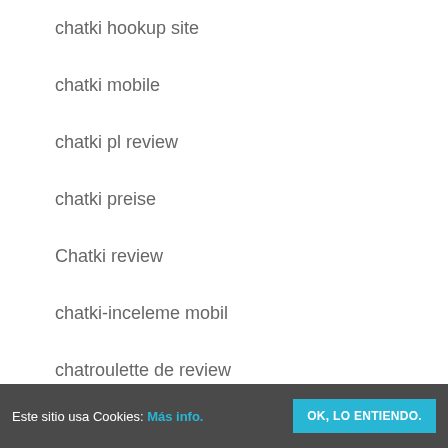chatki hookup site
chatki mobile
chatki pl review
chatki preise
Chatki review
chatki-inceleme mobil
chatroulette de review
chatroulette es reviews
Este sitio usa Cookies: Más info. OK, LO ENTIENDO.